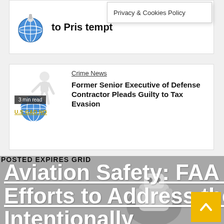[Figure (illustration): Globe with person figure on top card area]
to Pris tempt
Privacy & Cookies Policy
[Figure (illustration): Small white figure/person with globe]
Crime News
3 min read
U.S GAO NO
Former Senior Executive of Defense Contractor Pleads Guilty to Tax Evasion
POSTED EXPIRES GRID
Aviation Safety: FAA Should Strengthen Efforts to Address the Illegal Practice of Intentionally